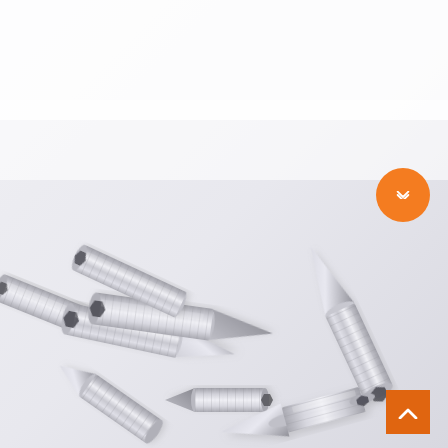[Figure (photo): Multiple stainless steel grub screws (set screws) with cone points scattered on a light grey/white background. The screws show threaded cylindrical bodies with hex socket drive on top and pointed conical tips. Approximately 8-9 screws visible at various angles.]